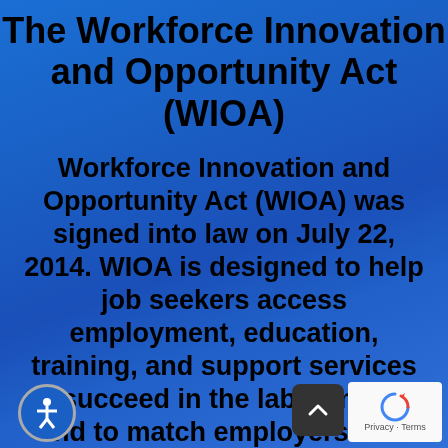The Workforce Innovation and Opportunity Act (WIOA)
Workforce Innovation and Opportunity Act (WIOA) was signed into law on July 22, 2014. WIOA is designed to help job seekers access employment, education, training, and support services to succeed in the labor market and to match employers with the skilled workers they need to compete in the global economy.